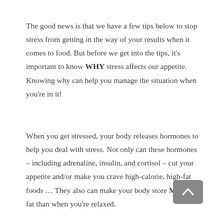The good news is that we have a few tips below to stop stress from getting in the way of your results when it comes to food. But before we get into the tips, it's important to know WHY stress affects our appetite. Knowing why can help you manage the situation when you're in it!
When you get stressed, your body releases hormones to help you deal with stress. Not only can these hormones – including adrenaline, insulin, and cortisol – cut your appetite and/or make you crave high-calorie, high-fat foods … They also can make your body store MORE fat than when you're relaxed.